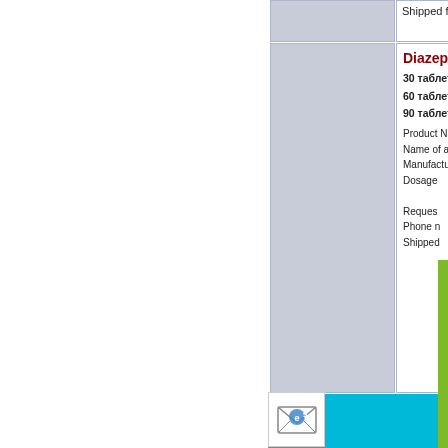Shipped from:
Diazepam 1
30 таблетки -
60 таблетки -
90 таблетки -
Product Name
Name of active
Manufacturere
Dosage
Requested shi
Phone n
Shipped
Diazep
30 табл
Product
Name o
Manufac
Dosage
Requested shi
Phone numbe